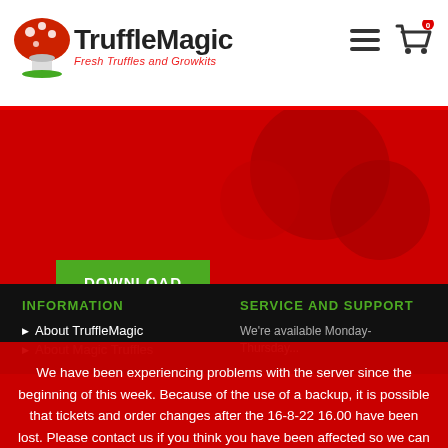TruffleMagic - Fresh Truffles and Growkits
[Figure (logo): TruffleMagic logo with red mushroom icon, text 'TruffleMagic' and subtitle 'Fresh Truffles and Growkits']
DOWNLOAD
INFORMATION
About TruffleMagic
SERVICE AND SUPPORT
We're available Monday-Thursday...
We have been experiencing problems with the server since the beginning of this week. Because of the use of a backup, it is possible that tickets and order changes after the 16-8-22 16.00 have been lost. Please contact us if you think you have been affected so we can fix the problem. Sorry for the inconvenience! We have closed the store webshop temporarily to make it easier to work on the server. Sorry for the inconvenience! Happy tripping, Peter and the TruffleMagic Family
Dismiss